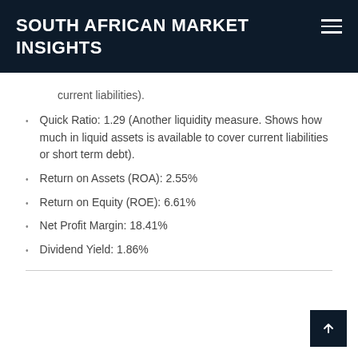SOUTH AFRICAN MARKET INSIGHTS
current liabilities).
Quick Ratio: 1.29 (Another liquidity measure. Shows how much in liquid assets is available to cover current liabilities or short term debt).
Return on Assets (ROA): 2.55%
Return on Equity (ROE): 6.61%
Net Profit Margin: 18.41%
Dividend Yield: 1.86%